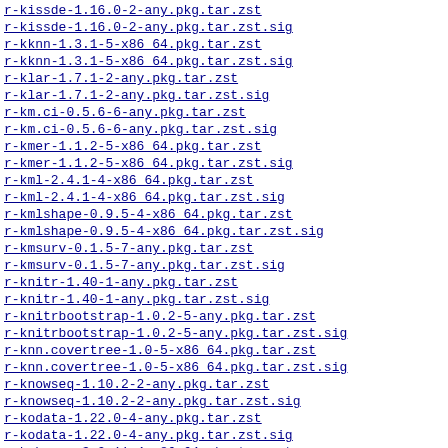r-kissde-1.16.0-2-any.pkg.tar.zst    17-Aug
r-kissde-1.16.0-2-any.pkg.tar.zst.sig    17-Aug
r-kknn-1.3.1-5-x86_64.pkg.tar.zst    16-Aug
r-kknn-1.3.1-5-x86_64.pkg.tar.zst.sig    16-Aug
r-klar-1.7.1-2-any.pkg.tar.zst    17-Aug
r-klar-1.7.1-2-any.pkg.tar.zst.sig    17-Aug
r-km.ci-0.5.6-6-any.pkg.tar.zst    20-Aug
r-km.ci-0.5.6-6-any.pkg.tar.zst.sig    20-Aug
r-kmer-1.1.2-5-x86_64.pkg.tar.zst    16-Aug
r-kmer-1.1.2-5-x86_64.pkg.tar.zst.sig    16-Aug
r-kml-2.4.1-4-x86_64.pkg.tar.zst    16-Aug
r-kml-2.4.1-4-x86_64.pkg.tar.zst.sig    16-Aug
r-kmlshape-0.9.5-4-x86_64.pkg.tar.zst    17-Aug
r-kmlshape-0.9.5-4-x86_64.pkg.tar.zst.sig    17-Aug
r-kmsurv-0.1.5-7-any.pkg.tar.zst    20-Aug
r-kmsurv-0.1.5-7-any.pkg.tar.zst.sig    20-Aug
r-knitr-1.40-1-any.pkg.tar.zst    24-Aug
r-knitr-1.40-1-any.pkg.tar.zst.sig    24-Aug
r-knitrbootstrap-1.0.2-5-any.pkg.tar.zst    16-Aug
r-knitrbootstrap-1.0.2-5-any.pkg.tar.zst.sig    16-Aug
r-knn.covertree-1.0-5-x86_64.pkg.tar.zst    16-Aug
r-knn.covertree-1.0-5-x86_64.pkg.tar.zst.sig    16-Aug
r-knowseq-1.10.2-2-any.pkg.tar.zst    17-Aug
r-knowseq-1.10.2-2-any.pkg.tar.zst.sig    17-Aug
r-kodata-1.22.0-4-any.pkg.tar.zst    20-Aug
r-kodata-1.22.0-4-any.pkg.tar.zst.sig    20-Aug
r-kohonen-3.0.11-4-x86_64.pkg.tar.zst    16-Aug
r-kohonen-3.0.11-4-x86_64.pkg.tar.zst.sig    16-Aug
r-korpus-0.13.8-5-any.pkg.tar.zst    16-Aug
r-korpus-0.13.8-5-any.pkg.tar.zst.sig    16-Aug